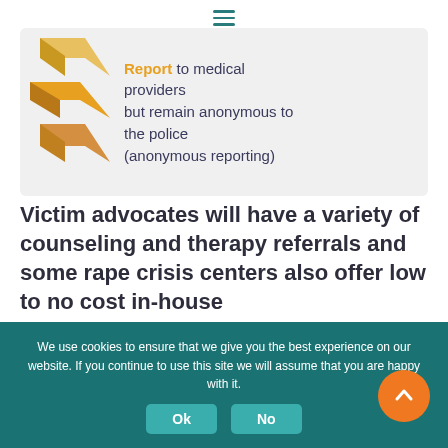[Figure (illustration): Hamburger menu icon (three horizontal lines) in teal, centered at top of page]
Report to medical providers but remain anonymous to the police (anonymous reporting)
Victim advocates will have a variety of counseling and therapy referrals and some rape crisis centers also offer low to no cost in-house
We use cookies to ensure that we give you the best experience on our website. If you continue to use this site we will assume that you are happy with it.